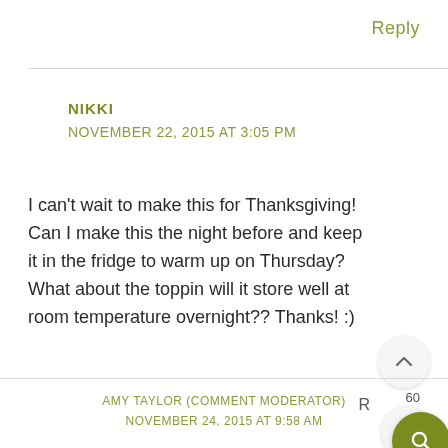Reply
NIKKI
NOVEMBER 22, 2015 AT 3:05 PM
I can't wait to make this for Thanksgiving! Can I make this the night before and keep it in the fridge to warm up on Thursday? What about the topping will it store well at room temperature overnight?? Thanks! :)
AMY TAYLOR (COMMENT MODERATOR)
NOVEMBER 24, 2015 AT 9:58 AM